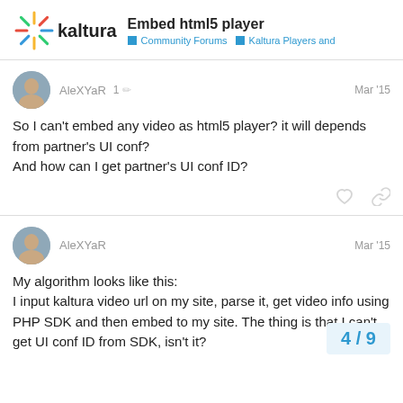Embed html5 player — Community Forums — Kaltura Players and
AleXYaR  1  Mar '15
So I can't embed any video as html5 player? it will depends from partner's UI conf?
And how can I get partner's UI conf ID?
AleXYaR  Mar '15
My algorithm looks like this:
I input kaltura video url on my site, parse it, get video info using PHP SDK and then embed to my site. The thing is that I can't get UI conf ID from SDK, isn't it?
4 / 9